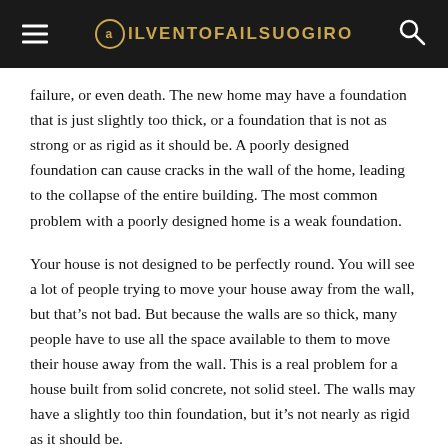ILVENTOFAILSUOGIRO
failure, or even death. The new home may have a foundation that is just slightly too thick, or a foundation that is not as strong or as rigid as it should be. A poorly designed foundation can cause cracks in the wall of the home, leading to the collapse of the entire building. The most common problem with a poorly designed home is a weak foundation.
Your house is not designed to be perfectly round. You will see a lot of people trying to move your house away from the wall, but that’s not bad. But because the walls are so thick, many people have to use all the space available to them to move their house away from the wall. This is a real problem for a house built from solid concrete, not solid steel. The walls may have a slightly too thin foundation, but it’s not nearly as rigid as it should be.